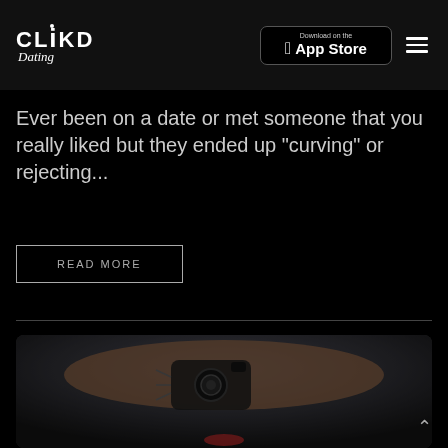CLiKD Dating — Download on the App Store — Menu
Ever been on a date or met someone that you really liked but they ended up "curving" or rejecting...
READ MORE
[Figure (photo): A person holding up their arm/hand in front of their face, covering their eyes. The hand has a detailed camera tattoo on it. The person has red lips and long hair. Dark, moody photography style.]